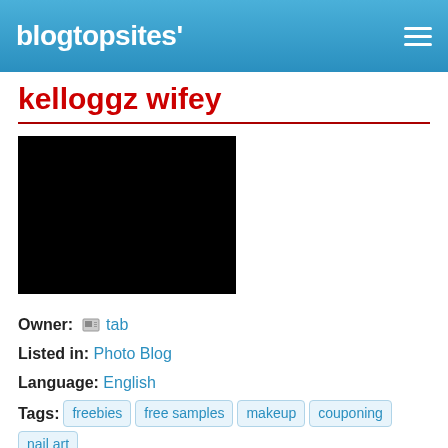blogtopsites'
kelloggz wifey
[Figure (photo): Black rectangular image placeholder for blog thumbnail]
Owner: tab
Listed in: Photo Blog
Language: English
Tags: freebies  free samples  makeup  couponing  nail art
free stuff, free samples, couponing, saving money, nail art tutorials, makeup, hair, family, etc.